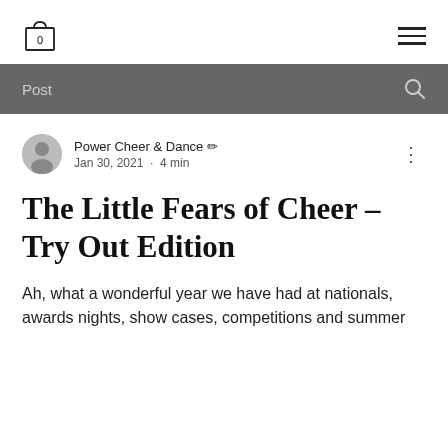0  [cart icon]  [hamburger menu]
Post
Power Cheer & Dance ✏  Jan 30, 2021 · 4 min
The Little Fears of Cheer - Try Out Edition
Ah, what a wonderful year we have had at nationals, awards nights, show cases, competitions and summer